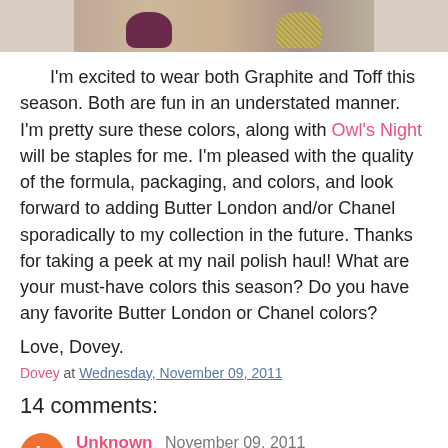[Figure (photo): Cropped image of two fingers with nail polish — one dark plum/purple on the left and one gold/shimmer on the right, partially visible at top of page]
I'm excited to wear both Graphite and Toff this season. Both are fun in an understated manner. I'm pretty sure these colors, along with Owl's Night will be staples for me. I'm pleased with the quality of the formula, packaging, and colors, and look forward to adding Butter London and/or Chanel sporadically to my collection in the future. Thanks for taking a peek at my nail polish haul! What are your must-have colors this season? Do you have any favorite Butter London or Chanel colors?
Love, Dovey.
Dovey at Wednesday, November 09, 2011
14 comments:
Unknown November 09, 2011
Greys are so beautiful and the shimmer is not overbearing